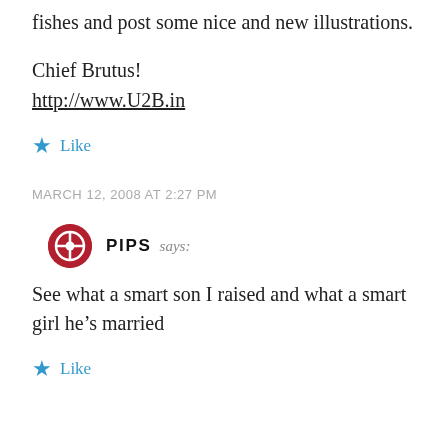fishes and post some nice and new illustrations.
Chief Brutus!
http://www.U2B.in
Like
MARCH 12, 2008 AT 2:27 PM
PIPS says:
See what a smart son I raised and what a smart girl he’s married
Like